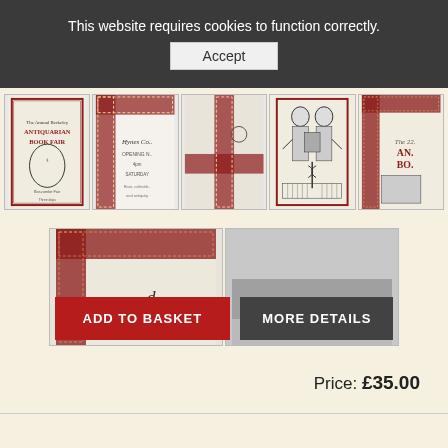This website requires cookies to function correctly.
Accept
[Figure (photo): Gallery of 5 thumbnail images in top row showing antiquarian book fair posters and details with decorative red borders]
[Figure (photo): Gallery of 2 thumbnail images in second row showing decorative border detail and plain cloth/fabric]
ADD TO BASKET
MORE DETAILS
Price: £35.00